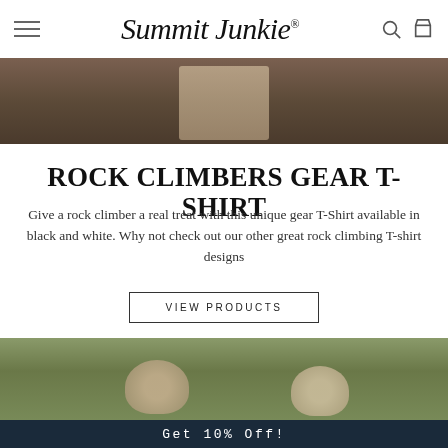Summit Junkie
[Figure (photo): Close-up photo of a person's torso wearing a white t-shirt, appears to be at a climbing gym with dark background]
ROCK CLIMBERS GEAR T-SHIRT
Give a rock climber a real treat with this unique gear T-Shirt available in black and white. Why not check out our other great rock climbing T-shirt designs
VIEW PRODUCTS
[Figure (photo): Overhead photo of a man and woman lying on grass looking up at camera, man wearing a white t-shirt]
Get 10% Off!